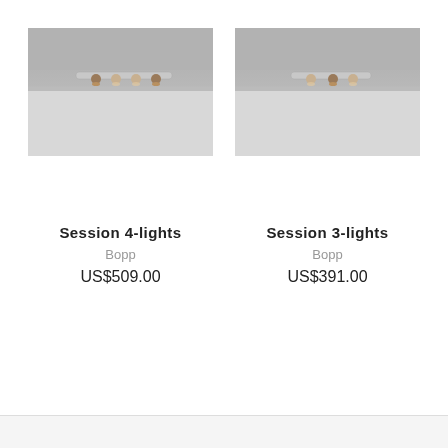[Figure (photo): Ceiling spotlight bar with 4 adjustable spotlights (Session 4-lights by Bopp), mounted on ceiling, light gray background]
[Figure (photo): Ceiling spotlight bar with 3 adjustable spotlights (Session 3-lights by Bopp), mounted on ceiling, light gray background]
Session 4-lights
Bopp
US$509.00
Session 3-lights
Bopp
US$391.00